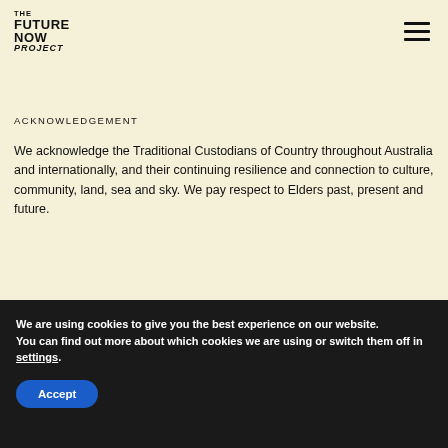THE FUTURENOW PROJECT
ACKNOWLEDGEMENT
We acknowledge the Traditional Custodians of Country throughout Australia and internationally, and their continuing resilience and connection to culture, community, land, sea and sky. We pay respect to Elders past, present and future.
We are using cookies to give you the best experience on our website.
You can find out more about which cookies we are using or switch them off in settings.
Accept